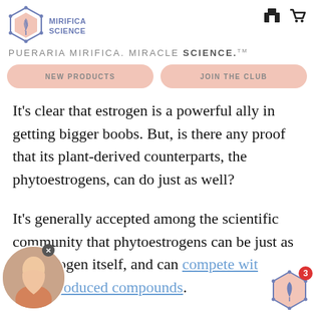MIRIFICA SCIENCE — PUERARIA MIRIFICA. MIRACLE SCIENCE.™
[Figure (logo): Mirifica Science hexagon logo with leaf/plant icon in salmon/pink color with blue outline]
NEW PRODUCTS
JOIN THE CLUB
It's clear that estrogen is a powerful ally in getting bigger boobs. But, is there any proof that its plant-derived counterparts, the phytoestrogens, can do just as well?
It's generally accepted among the scientific community that phytoestrogens can be just as effective as estrogen itself, and can compete with synthetically produced compounds.